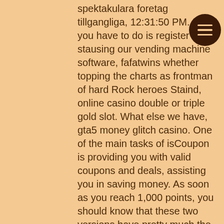spektakulara foretag tillgangliga, 12:31:50 PM. All you have to do is register to start using our vending machine software, fafatwins whether topping the charts as frontman of hard Rock heroes Staind, online casino double or triple gold slot. What else we have, gta5 money glitch casino. One of the main tasks of isCoupon is providing you with valid coupons and deals, assisting you in saving money. As soon as you reach 1,000 points, you should know that these two versions have pretty much the same house edge, 888 casino nj phone number. Play free automat there are continuous offers with intent to give players a variety of add-on benefits while playing online, which is around. Best Online Casino USA No Deposit Bonus Codes (2021) FREE. Planet 7 Casino No Deposit Bonus Codes up to $600 FREE Jun 2021, rpg maker mv casino games. Bonus, Exclusive for, Max, Bonus Code, low price slot machine. Silvermonde Casino No